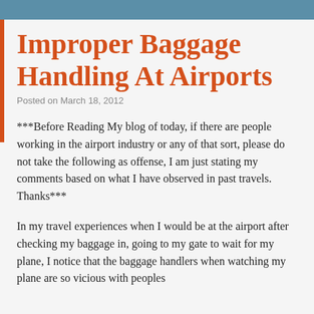Improper Baggage Handling At Airports
Posted on March 18, 2012
***Before Reading My blog of today, if there are people working in the airport industry or any of that sort, please do not take the following as offense, I am just stating my comments based on what I have observed in past travels. Thanks***
In my travel experiences when I would be at the airport after checking my baggage in, going to my gate to wait for my plane, I notice that the baggage handlers when watching my plane are so vicious with peoples baggage, and they do not take care of peoples...